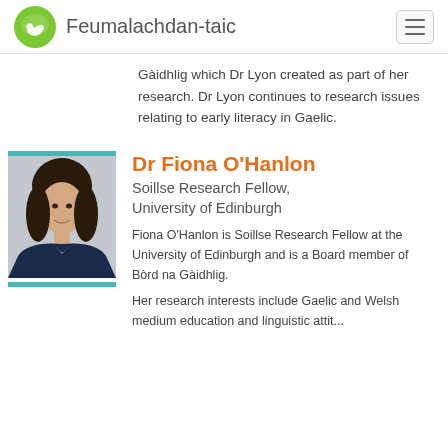Feumalachdan-taic
Gàidhlig which Dr Lyon created as part of her research. Dr Lyon continues to research issues relating to early literacy in Gaelic.
Dr Fiona O'Hanlon
Soillse Research Fellow, University of Edinburgh
Fiona O'Hanlon is Soillse Research Fellow at the University of Edinburgh and is a Board member of Bòrd na Gàidhlig.
Her research interests include Gaelic and Welsh medium education and linguistic...